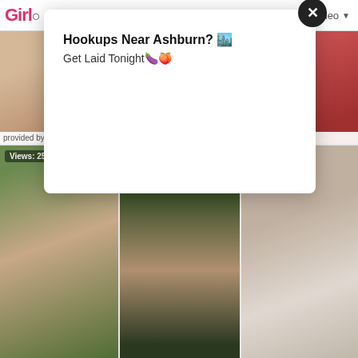Girl Softcore | Picture | Video
[Figure (screenshot): Thumbnail grid of adult content website with popup ad overlay]
provided by: Amour Angels
provided by: Amour Angels
provided by: T...
Views: 25094   Pics: 18   provided by: Met Art
Views: 76658   Pics: 15   provided by: This Years Model
Views: 36532   provided by: A...
Views: 22193   Pics: 15
Views: 43377   Pics: 20
Views: 3040...